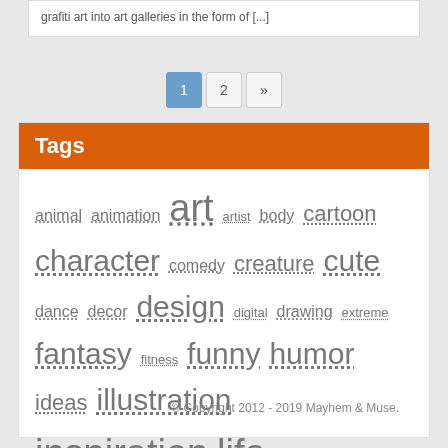grafiti art into art galleries in the form of [...]
1 2 »
Tags
animal animation art artist body cartoon character comedy creature cute dance decor design digital drawing extreme fantasy fitness funny humor ideas illustration inspiration life men monster motivation music outdoors painting performance photoshop physical pictures portrait relationships sexy singing skill sports strength surrealism training video women
© Copyright 2012 - 2019 Mayhem & Muse.